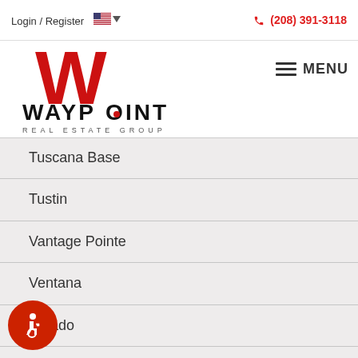Login / Register  (208) 391-3118
[Figure (logo): Waypoint Real Estate Group logo with large red W and text WAYPOINT REAL ESTATE GROUP]
Tuscana Base
Tustin
Vantage Pointe
Ventana
Verado
Verona
Victory South
Vienna Woods
Village Bungalows